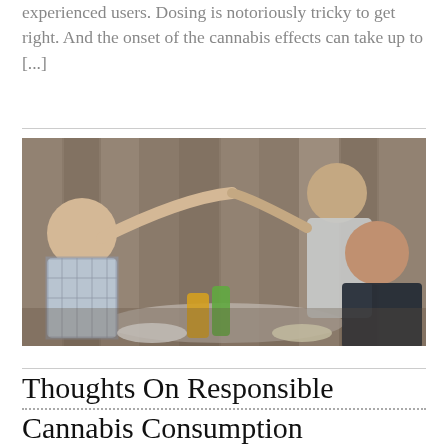experienced users. Dosing is notoriously tricky to get right. And the onset of the cannabis effects can take up to [...]
[Figure (photo): Three people sitting around an outdoor table with food and drinks, one person passing something to another across the table, with a wooden fence in the background.]
Thoughts On Responsible Cannabis Consumption